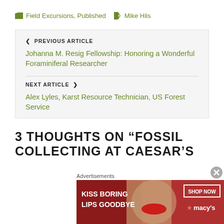Field Excursions, Published   Mike Hils
PREVIOUS ARTICLE
Johanna M. Resig Fellowship: Honoring a Wonderful Foraminiferal Researcher
NEXT ARTICLE
Alex Lyles, Karst Resource Technician, US Forest Service
3 THOUGHTS ON “FOSSIL COLLECTING AT CAESAR’S
Advertisements
[Figure (photo): Macy's advertisement banner: 'KISS BORING LIPS GOODBYE' with 'SHOP NOW' button and Macy's logo]